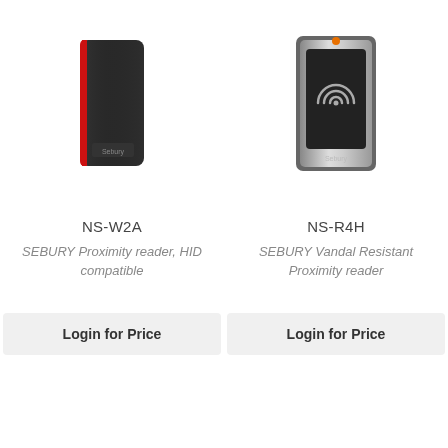[Figure (photo): SEBURY NS-W2A proximity card reader - slim black card with red stripe]
[Figure (photo): SEBURY NS-R4H vandal resistant proximity reader - silver metal housing with wifi/proximity symbol]
NS-W2A
NS-R4H
SEBURY Proximity reader, HID compatible
SEBURY Vandal Resistant Proximity reader
Login for Price
Login for Price